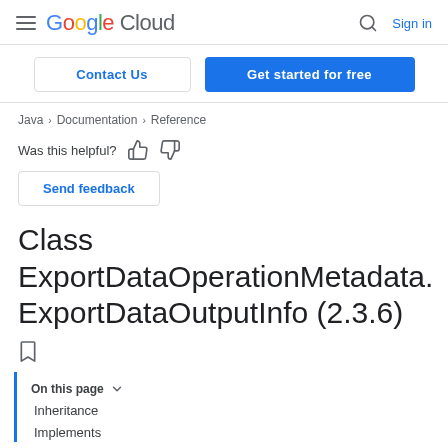Google Cloud  Sign in
Contact Us   Get started for free
Java > Documentation > Reference
Was this helpful?
Send feedback
Class ExportDataOperationMetadata.ExportDataOutputInfo (2.3.6)
On this page
Inheritance
Implements